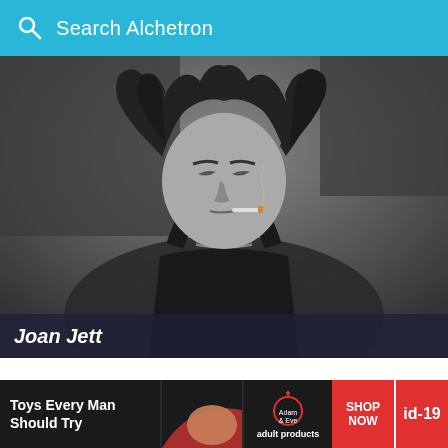Search Alchetron
[Figure (photo): Black and white photograph of Joan Jett with messy dark hair, eyes closed, smoking, wearing a dark tank top and choker necklace]
Joan Jett
[Figure (infographic): Advertisement banner: EPIC MOVIES / TONS OF TV on dark navy background]
[Figure (infographic): Bottom advertisement banner: Toys Every Man Should Try - Adam & Eve adult products with SHOP NOW button and id-19 tag]